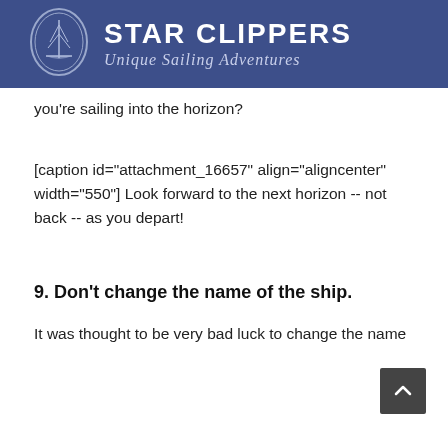STAR CLIPPERS Unique Sailing Adventures
you're sailing into the horizon?
[caption id="attachment_16657" align="aligncenter" width="550"] Look forward to the next horizon -- not back -- as you depart!
9. Don't change the name of the ship.
It was thought to be very bad luck to change the name of a ship. Initially this was thought to come from the sea...